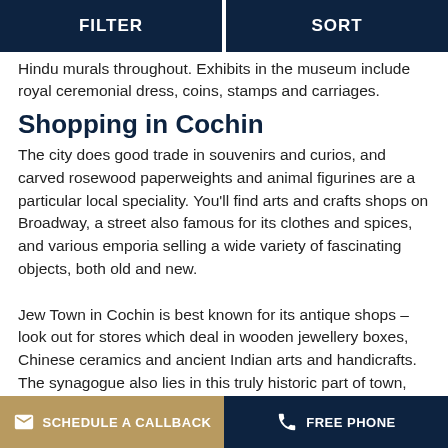FILTER   SORT
Hindu murals throughout. Exhibits in the museum include royal ceremonial dress, coins, stamps and carriages.
Shopping in Cochin
The city does good trade in souvenirs and curios, and carved rosewood paperweights and animal figurines are a particular local speciality. You'll find arts and crafts shops on Broadway, a street also famous for its clothes and spices, and various emporia selling a wide variety of fascinating objects, both old and new.
Jew Town in Cochin is best known for its antique shops – look out for stores which deal in wooden jewellery boxes, Chinese ceramics and ancient Indian arts and handicrafts. The synagogue also lies in this truly historic part of town, where you can step back in time to see the centuries-old, hand-painted Chinese floor tiles that are testament to the city's international history. The shopping in this part of the city also includes spice
SCHEDULE A CALLBACK   FREE PHONE